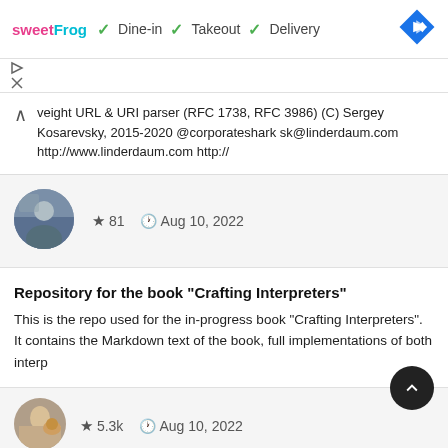[Figure (screenshot): Ad banner for sweetFrog showing Dine-in, Takeout, Delivery options with green checkmarks and a blue navigation diamond icon]
[Figure (infographic): Ad controls with play and close (X) icons]
veight URL & URI parser (RFC 1738, RFC 3986) (C) Sergey Kosarevsky, 2015-2020 @corporateshark sk@linderdaum.com http://www.linderdaum.com http://
[Figure (photo): Circular avatar thumbnail of a person in winter outdoor setting]
★ 81  © Aug 10, 2022
Repository for the book "Crafting Interpreters"
This is the repo used for the in-progress book "Crafting Interpreters". It contains the Markdown text of the book, full implementations of both interp
[Figure (photo): Circular avatar thumbnail of a person with a dog]
★ 5.3k  © Aug 10, 2022